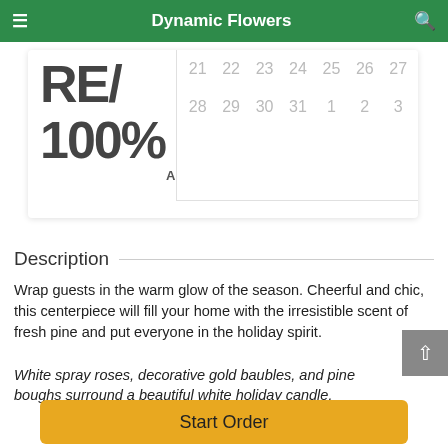Dynamic Flowers
[Figure (screenshot): Partially visible card showing 'RE' and '100%' and 'AND HAND DELIVERED' text with a calendar overlay showing dates 21-27 and 28-31, 1-3]
Description
Wrap guests in the warm glow of the season. Cheerful and chic, this centerpiece will fill your home with the irresistible scent of fresh pine and put everyone in the holiday spirit.
White spray roses, decorative gold baubles, and pine boughs surround a beautiful white holiday candle.